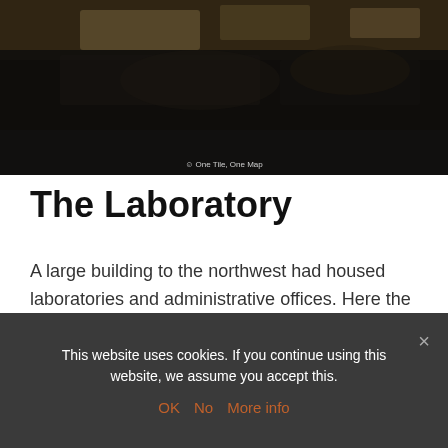[Figure (photo): Dark aerial or ground-level photo showing dark soil/earth terrain with some lighter patches, appears to be demolition or excavation site]
One Tile, One Map
The Laboratory
A large building to the northwest had housed laboratories and administrative offices. Here the demolition work had not progressed as far as elsewhere, and there were still many treasures to discover ☺
This website uses cookies. If you continue using this website, we assume you accept this. OK  No  More info